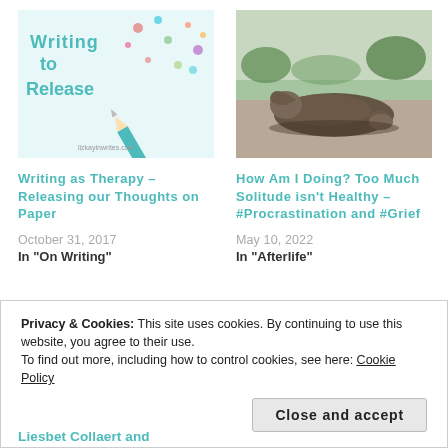[Figure (illustration): Writing to Release blog post thumbnail — stylized text 'Writing to Release' with pencil and confetti on light background]
[Figure (photo): Photo of a bronze sculpture of a person lying curled up on the ground, outdoors in a garden]
Writing as Therapy – Releasing our Thoughts on Paper
How Am I Doing? Too Much Solitude isn't Healthy – #Procrastination and #Grief
October 31, 2017
In "On Writing"
May 10, 2022
In "Afterlife"
[Figure (photo): Partial thumbnail images visible at bottom of page, partially obscured by cookie banner]
Privacy & Cookies: This site uses cookies. By continuing to use this website, you agree to their use.
To find out more, including how to control cookies, see here: Cookie Policy
Close and accept
Liesbet Collaert and